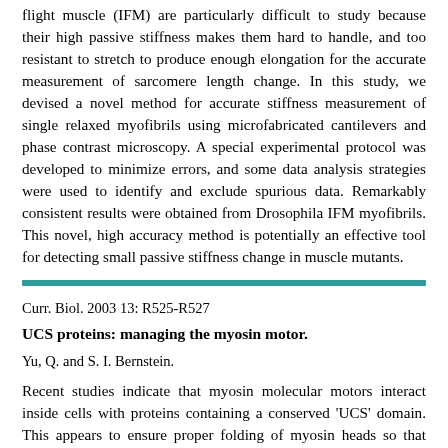flight muscle (IFM) are particularly difficult to study because their high passive stiffness makes them hard to handle, and too resistant to stretch to produce enough elongation for the accurate measurement of sarcomere length change. In this study, we devised a novel method for accurate stiffness measurement of single relaxed myofibrils using microfabricated cantilevers and phase contrast microscopy. A special experimental protocol was developed to minimize errors, and some data analysis strategies were used to identify and exclude spurious data. Remarkably consistent results were obtained from Drosophila IFM myofibrils. This novel, high accuracy method is potentially an effective tool for detecting small passive stiffness change in muscle mutants.
Curr. Biol. 2003 13: R525-R527
UCS proteins: managing the myosin motor.
Yu, Q. and S. I. Bernstein.
Recent studies indicate that myosin molecular motors interact inside cells with proteins containing a conserved 'UCS' domain. This appears to ensure proper folding of myosin heads so that they can perform their ATP-dependent actin-based motor functions.